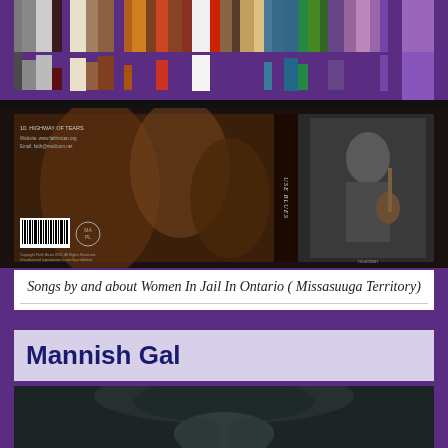[Figure (illustration): Top colorful vertical color strip bar with purple, yellow, gray, maroon, white, tan, purple, orange, red, teal, green, mauve, purple blocks on dark purple background]
[Figure (photo): Album back cover showing 'USE BLUES' text vertically on spine, tracklist including '10. HIGHWAY OF TEARS', website and email details, barcode, MA/FL logo, copyright text, and photo of musician playing banjo on right side. Background has dark brown artistic photography.]
Songs by  and  about  Women In Jail In Ontario ( Missasuuga Territory)
Mannish Gal
[Figure (photo): Black and white close-up photograph of a person wearing a dark wide-brimmed hat, face partially hidden with hands raised near chin, moody atmospheric lighting]